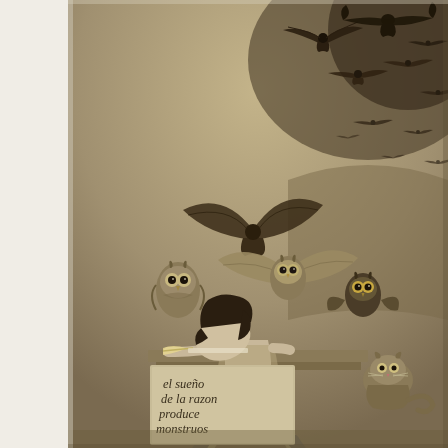[Figure (illustration): Goya's 'El sueño de la razon produce monstruos' (The Sleep of Reason Produces Monsters), Caprichos plate 43. An etching showing a man slumped asleep at a desk, surrounded by owls and bats flying around him. In the lower left a stone block bears the inscription 'el sueño de la razon produce monstruos' in cursive script. The image is rendered in brown sepia tones typical of Goya's aquatint etchings.]